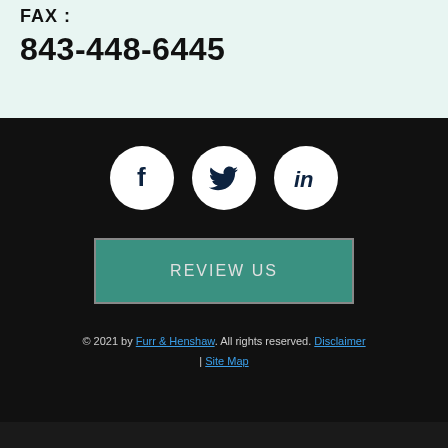FAX :
843-448-6445
[Figure (other): Social media icons: Facebook, Twitter, LinkedIn in white circles on dark background]
REVIEW US
© 2021 by Furr & Henshaw. All rights reserved. Disclaimer | Site Map